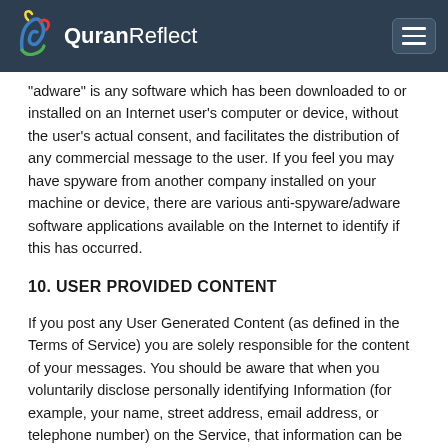QuranReflect
"adware" is any software which has been downloaded to or installed on an Internet user's computer or device, without the user's actual consent, and facilitates the distribution of any commercial message to the user. If you feel you may have spyware from another company installed on your machine or device, there are various anti-spyware/adware software applications available on the Internet to identify if this has occurred.
10. USER PROVIDED CONTENT
If you post any User Generated Content (as defined in the Terms of Service) you are solely responsible for the content of your messages. You should be aware that when you voluntarily disclose personally identifying Information (for example, your name, street address, email address, or telephone number) on the Service, that information can be read, collected and used by other users of the Service and